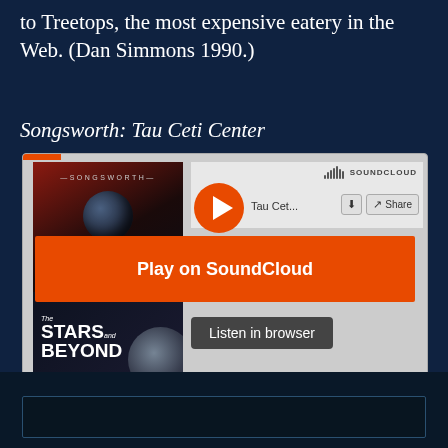to Treetops, the most expensive eatery in the Web. (Dan Simmons 1990.)
Songsworth: Tau Ceti Center
[Figure (screenshot): SoundCloud embedded widget showing 'Tau Cet...' track by Songsworth with 'The Stars and Beyond' album art, Play on SoundCloud orange button, Listen in browser button, and play count of 607]